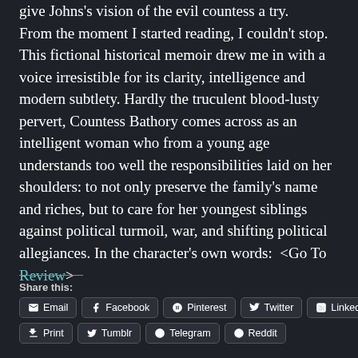give Johns's vision of the evil countess a try. From the moment I started reading, I couldn't stop. This fictional historical memoir drew me in with a voice irresistible for its clarity, intelligence and modern subtlety. Hardly the truculent blood-lusty pervert, Countess Bathory comes across as an intelligent woman who from a young age understands too well the responsibilities laid on her shoulders: to not only preserve the family's name and riches, but to care for her youngest siblings against political turmoil, war, and shifting political allegiances. In the character's own words:  <Go To Review>
Share this:
Email
Facebook
Pinterest
Twitter
LinkedIn
Print
Tumblr
Telegram
Reddit